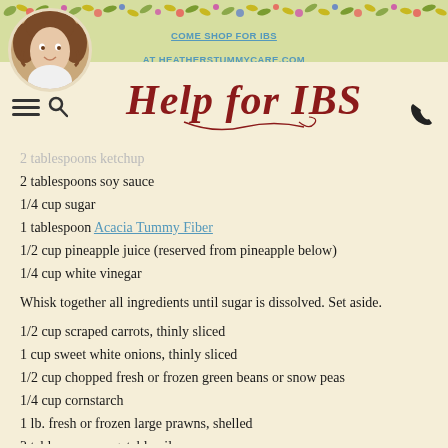COME SHOP FOR IBS AT HEATHERSTUMMYCARE.COM
[Figure (logo): Help for IBS script logo in dark red/brown]
[Figure (photo): Circular profile photo of a woman with curly brown hair]
2 tablespoons ketchup (partially visible/faded)
2 tablespoons soy sauce
1/4 cup sugar
1 tablespoon Acacia Tummy Fiber
1/2 cup pineapple juice (reserved from pineapple below)
1/4 cup white vinegar
Whisk together all ingredients until sugar is dissolved. Set aside.
1/2 cup scraped carrots, thinly sliced
1 cup sweet white onions, thinly sliced
1/2 cup chopped fresh or frozen green beans or snow peas
1/4 cup cornstarch
1 lb. fresh or frozen large prawns, shelled
2 tablespoons vegetable oil